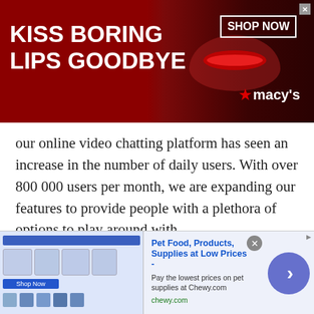[Figure (screenshot): Macy's advertisement banner with red background, 'KISS BORING LIPS GOODBYE' text, woman's face, 'SHOP NOW' button and Macy's star logo.]
our online video chatting platform has seen an increase in the number of daily users. With over 800 000 users per month, we are expanding our features to provide people with a plethora of options to play around with.
What is The Random Chat or Chatrandom Feature?
We connect users from over 220 countries, bringing people together to chat with each other on our platform. Chatrandom is the feature that allows individuals to
[Figure (screenshot): Chewy.com advertisement banner showing pet food products with 'Pet Food, Products, Supplies at Low Prices' title, Chewy.com URL, navigation arrow button and close button.]